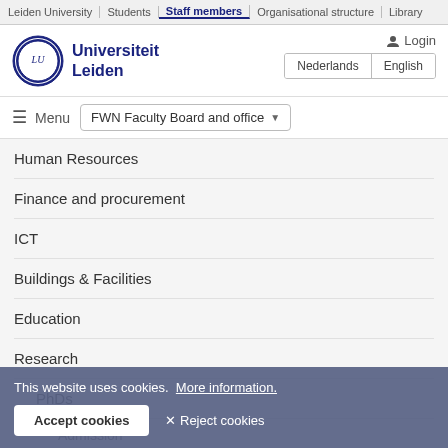Leiden University | Students | Staff members | Organisational structure | Library
[Figure (logo): Universiteit Leiden circular seal/crest logo in dark blue]
Universiteit Leiden
Login
Nederlands | English
≡ Menu   FWN Faculty Board and office ▼
Human Resources
Finance and procurement
ICT
Buildings & Facilities
Education
Research
PhDs
Admission
This website uses cookies.  More information.
Accept cookies   ✕ Reject cookies